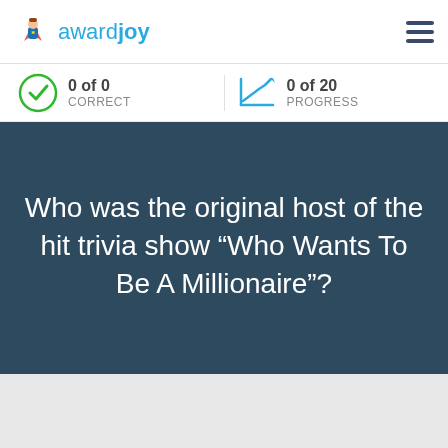awardjoy
0 of 0 CORRECT
0 of 20 PROGRESS
Who was the original host of the hit trivia show “Who Wants To Be A Millionaire”?